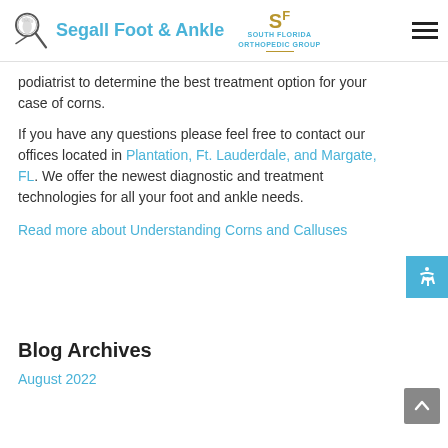Segall Foot & Ankle | South Florida Orthopedic Group
podiatrist to determine the best treatment option for your case of corns.
If you have any questions please feel free to contact our offices located in Plantation, Ft. Lauderdale, and Margate, FL. We offer the newest diagnostic and treatment technologies for all your foot and ankle needs.
Read more about Understanding Corns and Calluses
Blog Archives
August 2022